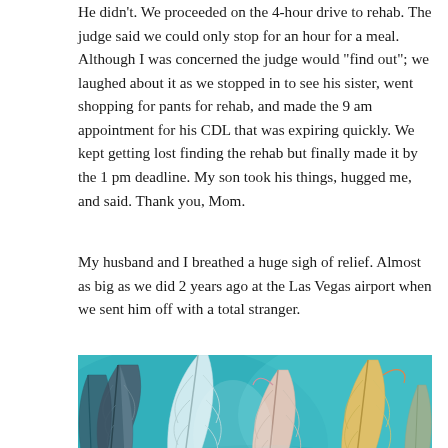He didn't. We proceeded on the 4-hour drive to rehab. The judge said we could only stop for an hour for a meal. Although I was concerned the judge would "find out"; we laughed about it as we stopped in to see his sister, went shopping for pants for rehab, and made the 9 am appointment for his CDL that was expiring quickly. We kept getting lost finding the rehab but finally made it by the 1 pm deadline. My son took his things, hugged me, and said. Thank you, Mom.
My husband and I breathed a huge sigh of relief. Almost as big as we did 2 years ago at the Las Vegas airport when we sent him off with a total stranger.
[Figure (photo): Colorful painting or photograph of feathers in shades of teal, blue, white, pink, and orange/yellow on a turquoise background.]